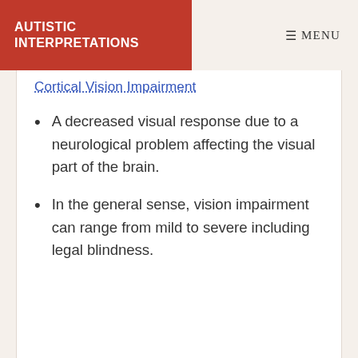AUTISTIC INTERPRETATIONS
Cortical Vision Impairment
A decreased visual response due to a neurological problem affecting the visual part of the brain.
In the general sense, vision impairment can range from mild to severe including legal blindness.